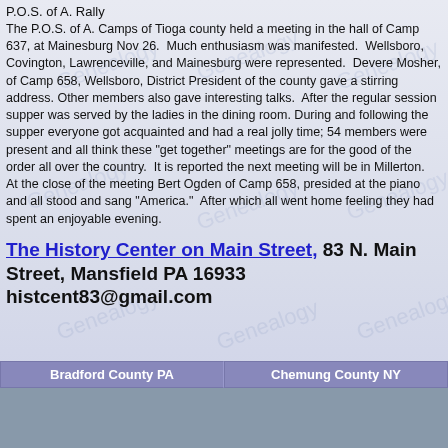P.O.S. of A. Rally
The P.O.S. of A. Camps of Tioga county held a meeting in the hall of Camp 637, at Mainesburg Nov 26. Much enthusiasm was manifested. Wellsboro, Covington, Lawrenceville, and Mainesburg were represented. Devere Mosher, of Camp 658, Wellsboro, District President of the county gave a stirring address. Other members also gave interesting talks. After the regular session supper was served by the ladies in the dining room. During and following the supper everyone got acquainted and had a real jolly time; 54 members were present and all think these "get together" meetings are for the good of the order all over the country. It is reported the next meeting will be in Millerton. At the close of the meeting Bert Ogden of Camp 658, presided at the piano and all stood and sang "America." After which all went home feeling they had spent an enjoyable evening.
The History Center on Main Street, 83 N. Main Street, Mansfield PA 16933 histcent83@gmail.com
Bradford County PA   Chemung County NY